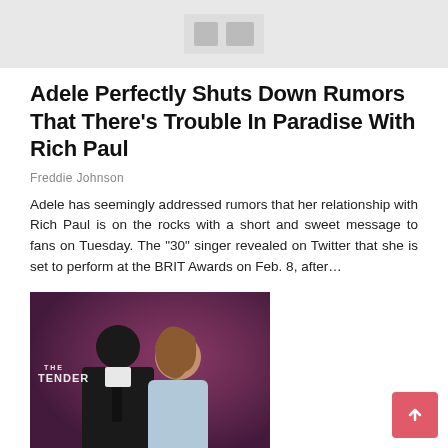[Figure (photo): Placeholder/logo image at top of page, light gray background]
Adele Perfectly Shuts Down Rumors That There’s Trouble In Paradise With Rich Paul
Freddie Johnson
Adele has seemingly addressed rumors that her relationship with Rich Paul is on the rocks with a short and sweet message to fans on Tuesday. The “30” singer revealed on Twitter that she is set to perform at the BRIT Awards on Feb. 8, after…
[Figure (photo): Couple at red carpet event, man in dark suit kissing woman on cheek, woman in light blue dress smiling, purple/maroon background with partial 'THE TENDER' text visible]
Jennifer Lopez Reflects On Getting A ‘Second